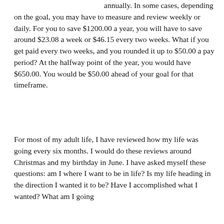annually. In some cases, depending on the goal, you may have to measure and review weekly or daily. For you to save $1200.00 a year, you will have to save around $23.08 a week or $46.15 every two weeks. What if you get paid every two weeks, and you rounded it up to $50.00 a pay period? At the halfway point of the year, you would have $650.00. You would be $50.00 ahead of your goal for that timeframe.
For most of my adult life, I have reviewed how my life was going every six months. I would do these reviews around Christmas and my birthday in June. I have asked myself these questions: am I where I want to be in life? Is my life heading in the direction I wanted it to be? Have I accomplished what I wanted? What am I going